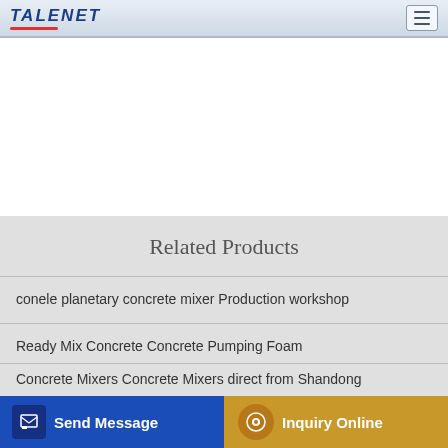TALENET
Related Products
conele planetary concrete mixer Production workshop
Ready Mix Concrete Concrete Pumping Foam
asphalt hot mix plant price in kittila DHB 40tph Moving Type
Concrete Mixers Concrete Mixers direct from Shandong
Send Message
Inquiry Online